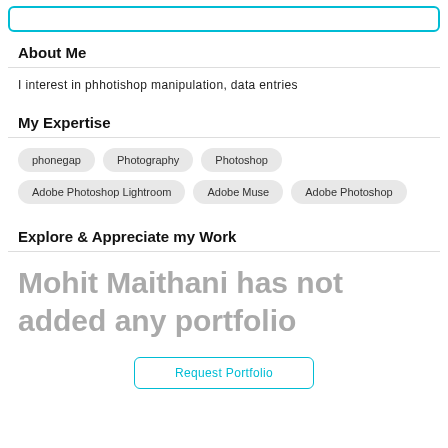About Me
I interest in phhotishop manipulation, data entries
My Expertise
phonegap
Photography
Photoshop
Adobe Photoshop Lightroom
Adobe Muse
Adobe Photoshop
Explore & Appreciate my Work
Mohit Maithani has not added any portfolio
Request Portfolio